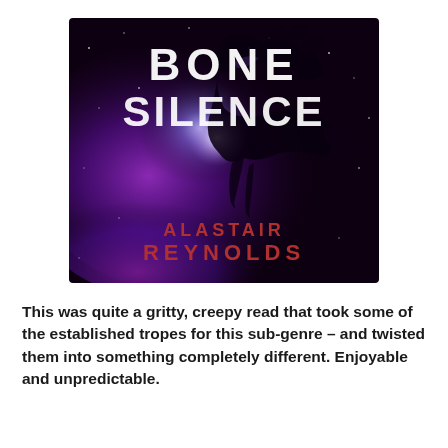[Figure (illustration): Book cover of 'Bone Silence' by Alastair Reynolds. Dark space scene with purple/blue nebula and a dark spacecraft. Title 'BONE SILENCE' in large white text at top, author name 'ALASTAIR REYNOLDS' in dark red at bottom.]
This was quite a gritty, creepy read that took some of the established tropes for this sub-genre – and twisted them into something completely different. Enjoyable and unpredictable.